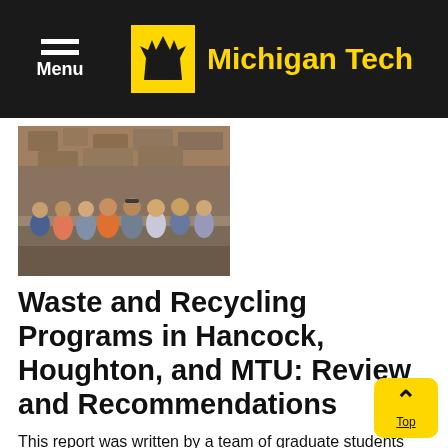Menu | Michigan Tech
[Figure (photo): Group of graduate students standing in front of a large pile of recyclable materials at a recycling facility]
Waste and Recycling Programs in Hancock, Houghton, and MTU: Review and Recommendations
This report was written by a team of graduate students taking a course in Sociology of the Environment at Michigan Tech during Fall semester 2015. They were supervised by Dr. Richelle Winkler.